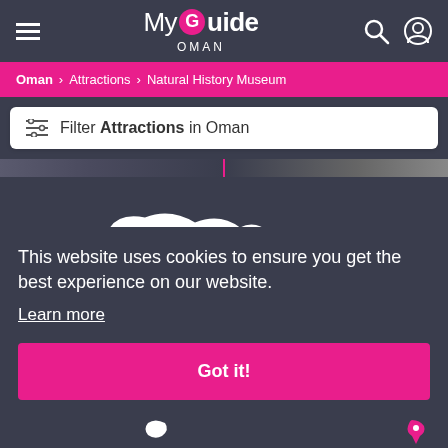MyGuide OMAN
Oman > Attractions > Natural History Museum
Filter Attractions in Oman
[Figure (map): Map of Oman with white silhouette landmass shapes on dark background, with a map pin marker and partial country outlines]
This website uses cookies to ensure you get the best experience on our website.
Learn more
Got it!